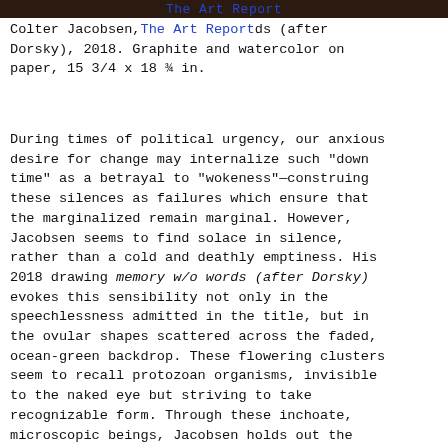The Art Report
Colter Jacobsen, memory w/o words (after Dorsky), 2018. Graphite and watercolor on paper, 15 3/4 x 18 ¾ in.
During times of political urgency, our anxious desire for change may internalize such "down time" as a betrayal to "wokeness"—construing these silences as failures which ensure that the marginalized remain marginal. However, Jacobsen seems to find solace in silence, rather than a cold and deathly emptiness. His 2018 drawing memory w/o words (after Dorsky) evokes this sensibility not only in the speechlessness admitted in the title, but in the ovular shapes scattered across the faded, ocean-green backdrop. These flowering clusters seem to recall protozoan organisms, invisible to the naked eye but striving to take recognizable form. Through these inchoate, microscopic beings, Jacobsen holds out the hope that absence is not a mere lack, but something generative—a marvelous space wherein something is born, rather than destroyed. This interpretation of emptiness reflects the Buddhist tenets embedded in postwar Bay Area spiritual life, echoed also in the mandala-like figures that recur throughout the exhibition.